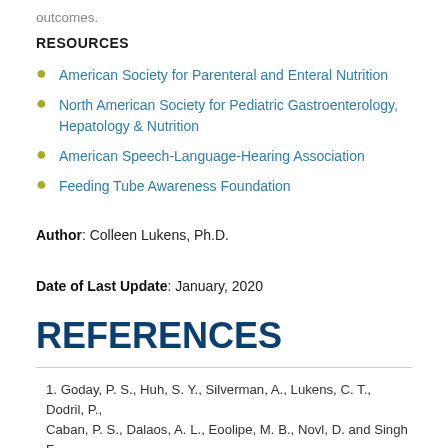outcomes.
RESOURCES
American Society for Parenteral and Enteral Nutrition
North American Society for Pediatric Gastroenterology, Hepatology & Nutrition
American Speech-Language-Hearing Association
Feeding Tube Awareness Foundation
Author: Colleen Lukens, Ph.D.
Date of Last Update: January, 2020
REFERENCES
1. Goday, P. S., Huh, S. Y., Silverman, A., Lukens, C. T., Dodril, P., Cahan, P. S., Dalaos, A. L., Eoolipe, M. B., Novl, D. and Singh F.